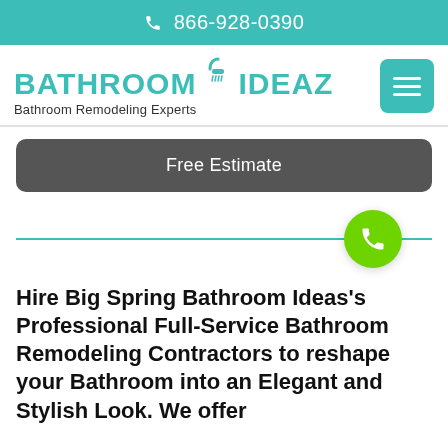866-928-0390
[Figure (logo): Bathroom Ideaz logo with shower icon and text 'BATHROOM IDEAZ Bathroom Remodeling Experts']
Free Estimate
[Figure (other): Horizontal teal divider line with green phone icon circle]
Hire Big Spring Bathroom Ideas's Professional Full-Service Bathroom Remodeling Contractors to reshape your Bathroom into an Elegant and Stylish Look. We offer